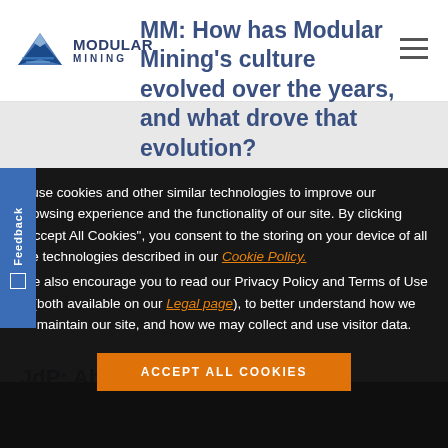[Figure (logo): Modular Mining logo with mountain/shield icon and text MODULAR MINING]
MM: How has Modular Mining's culture evolved over the years, and what drove that evolution?
JdP: About five years ago, we…
We use cookies and other similar technologies to improve our browsing experience and the functionality of our site. By clicking "Accept All Cookies", you consent to the storing on your device of all the technologies described in our Cookie Policy. We also encourage you to read our Privacy Policy and Terms of Use (both available on our Legal page), to better understand how we maintain our site, and how we may collect and use visitor data.
ACCEPT ALL COOKIES